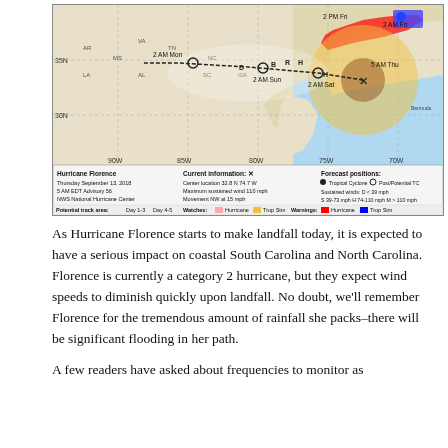[Figure (map): Hurricane Florence NWS National Hurricane Center forecast track map. Thursday September 13, 2018, 5 AM EDT Advisory 56. Center location 32.8 N 74.7 W. Maximum sustained wind 110 mph. Movement NW at 15 mph. Shows forecast positions from 5 AM Thu through 2 AM Mon along US East Coast. Yellow cone shows current wind extent around storm. Red area shows hurricane warning zone along Carolinas coast. Blue shows Tropical Storm warning. Labels: 5 AM Thu (X marker), 2 AM Sat, 2 AM Sun, 2 AM Mon with Day 1-3 and Day 4-5 track areas shown. Legend shows Tropical Cyclone, Post/Potential TC, wind speed categories D<39, S 39-73, H 74-110, M>110 mph.]
As Hurricane Florence starts to make landfall today, it is expected to have a serious impact on coastal South Carolina and North Carolina. Florence is currently a category 2 hurricane, but they expect wind speeds to diminish quickly upon landfall. No doubt, we'll remember Florence for the tremendous amount of rainfall she packs–there will be significant flooding in her path.
A few readers have asked about frequencies to monitor as